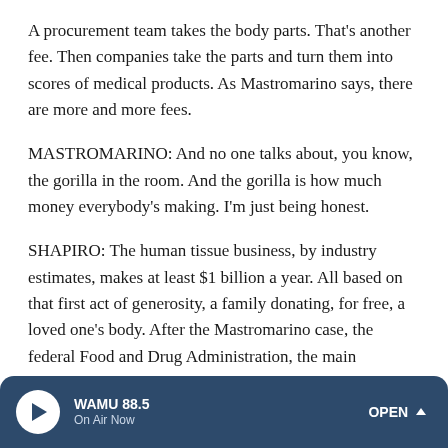A procurement team takes the body parts. That's another fee. Then companies take the parts and turn them into scores of medical products. As Mastromarino says, there are more and more fees.
MASTROMARINO: And no one talks about, you know, the gorilla in the room. And the gorilla is how much money everybody's making. I'm just being honest.
SHAPIRO: The human tissue business, by industry estimates, makes at least $1 billion a year. All based on that first act of generosity, a family donating, for free, a loved one's body. After the Mastromarino case, the federal Food and Drug Administration, the main regulator of tissue banks...
WAMU 88.5  On Air Now  OPEN